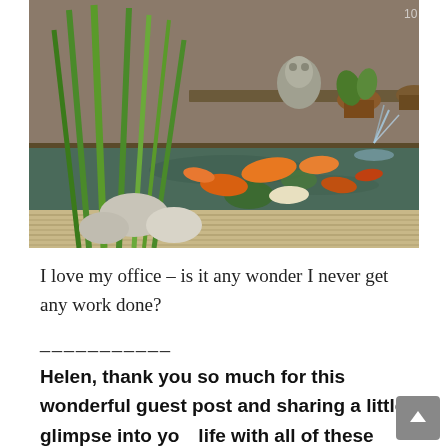[Figure (photo): A garden koi pond with orange and white fish visible underwater, green aquatic plants on the left, smooth river stones, a wooden deck/railing, a stone frog ornament on a shelf in the back, potted plants, and a small water fountain spray on the right side.]
I love my office – is it any wonder I never get any work done?
___________
Helen, thank you so much for this wonderful guest post and sharing a little glimpse into your life with all of these beautiful pictures! Mab is